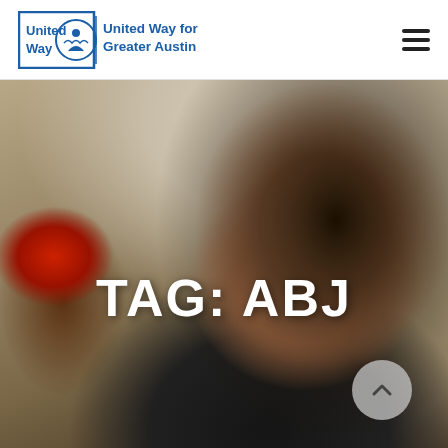[Figure (logo): United Way for Greater Austin logo with shield/torch emblem]
[Figure (illustration): Hamburger menu icon (three horizontal lines)]
[Figure (photo): Hero photograph of a smiling young woman with dark hair and round glasses wearing a dark shirt, with another person in a red cap visible in the background. Text overlay reads TAG: ABJ in large bold white uppercase letters. A circular scroll-up button with a chevron is in the lower right.]
TAG: ABJ